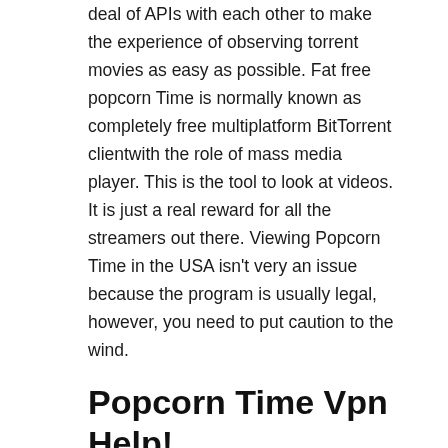deal of APIs with each other to make the experience of observing torrent movies as easy as possible. Fat free popcorn Time is normally known as completely free multiplatform BitTorrent clientwith the role of mass media player. This is the tool to look at videos. It is just a real reward for all the streamers out there. Viewing Popcorn Time in the USA isn't very an issue because the program is usually legal, however, you need to put caution to the wind.
Popcorn Time Vpn Help!
Popcorn Time just isn't completely remote-friendly. It is an amazing streaming program for free. Though it is an remarkable alternative to Netflix and Hulu, it is affected with number of issues. The reason why that Fat free popcorn Time is niagra kind of fantastic service is the fact that everyone is able to look at the hottest films free of charge. You must take a different strategy so as to get Fat free popcorn Time for Mac.
The Secret to Popcorn Time Vpn